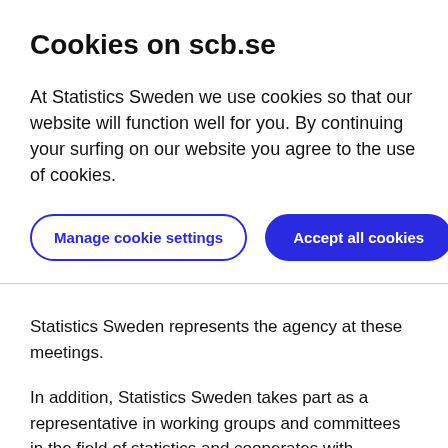Cookies on scb.se
At Statistics Sweden we use cookies so that our website will function well for you. By continuing your surfing on our website you agree to the use of cookies.
[Figure (other): Two buttons: 'Manage cookie settings' (outlined style, dark blue border) and 'Accept all cookies' (filled dark blue pill button)]
Statistics Sweden represents the agency at these meetings.
In addition, Statistics Sweden takes part as a representative in working groups and committees in the field of statistics and cooperates with numerous specialised agencies within the UN, including the